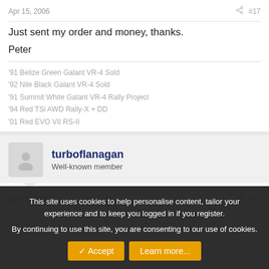Apr 15, 2006    #17
Just sent my order and money, thanks.
Peter
'91 Belize Green Galant VR-4 Sold
'92 Nile Black Galant VR-4 Sold
'91 Summit White Galant VR-4 Rally Project
'94 Red TSi AWD Rally-X + DD
'01 Red EVO VII RS-II
turboflanagan
Well-known member
Apr 27, 2006    #18
This site uses cookies to help personalise content, tailor your experience and to keep you logged in if you register.
By continuing to use this site, you are consenting to our use of cookies.